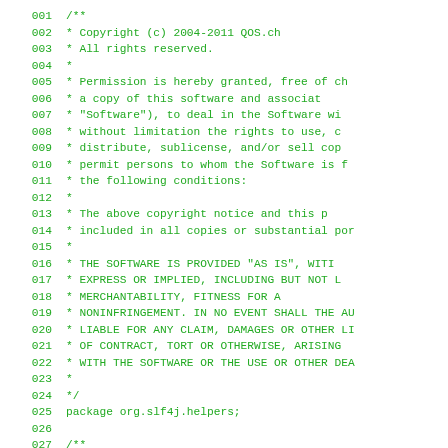Source code listing lines 001-027, Java file with copyright header and package declaration for org.slf4j.helpers